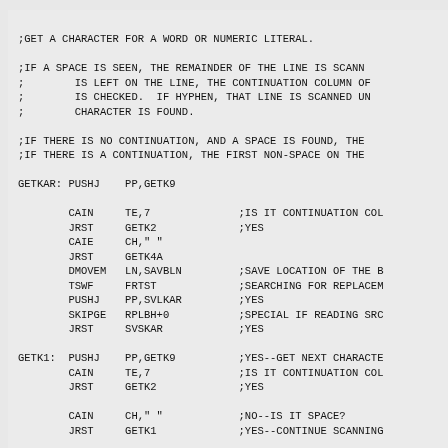;GET A CHARACTER FOR A WORD OR NUMERIC LITERAL.

;IF A SPACE IS SEEN, THE REMAINDER OF THE LINE IS SCANN
;       IS LEFT ON THE LINE, THE CONTINUATION COLUMN OF
;       IS CHECKED.  IF HYPHEN, THAT LINE IS SCANNED UN
;       CHARACTER IS FOUND.

;IF THERE IS NO CONTINUATION, AND A SPACE IS FOUND, THE
;IF THERE IS A CONTINUATION, THE FIRST NON-SPACE ON THE

GETKAR: PUSHJ    PP,GETK9

        CAIN     TE,7              ;IS IT CONTINUATION COL
        JRST     GETK2             ;YES
        CAIE     CH," "
        JRST     GETK4A
        DMOVEM   LN,SAVBLN         ;SAVE LOCATION OF THE B
        TSWF     FRTST             ;SEARCHING FOR REPLACEM
        PUSHJ    PP,SVLKAR         ;YES
        SKIPGE   RPLBH+0           ;SPECIAL IF READING SRC
        JRST     SVSKAR            ;YES

GETK1:  PUSHJ    PP,GETK9          ;YES--GET NEXT CHARACTE
        CAIN     TE,7              ;IS IT CONTINUATION COL
        JRST     GETK2             ;YES

        CAIN     CH," "            ;NO--IS IT SPACE?
        JRST     GETK1             ;YES--CONTINUE SCANNING